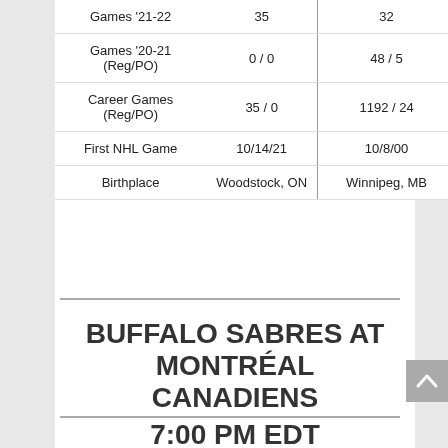|  | Col1 | Col2 |
| --- | --- | --- |
| Games '21-22 | 35 | 32 |
| Games '20-21 (Reg/PO) | 0 / 0 | 48 / 5 |
| Career Games (Reg/PO) | 35 / 0 | 1192 / 24 |
| First NHL Game | 10/14/21 | 10/8/00 |
| Birthplace | Woodstock, ON | Winnipeg, MB |
BUFFALO SABRES AT MONTRÉAL CANADIENS 7:00 PM EDT
Postponed – COVID